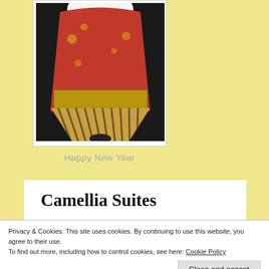[Figure (photo): A person wearing a traditional red and gold Japanese kimono or festive costume, shown from the torso down, featuring ornate gold embroidery and striped hakama-style skirt.]
Happy New Year
Camellia Suites
Privacy & Cookies: This site uses cookies. By continuing to use this website, you agree to their use.
To find out more, including how to control cookies, see here: Cookie Policy
Close and accept
through the woods. But from my 29th floor balcony